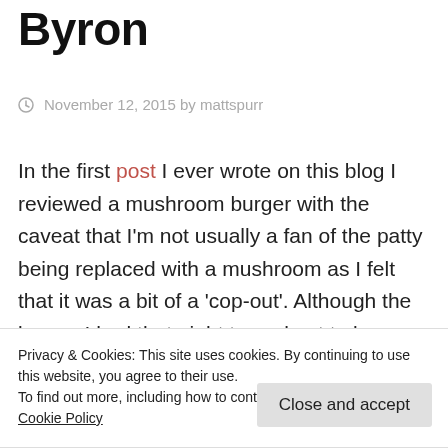Byron
November 12, 2015 by mattspurr
In the first post I ever wrote on this blog I reviewed a mushroom burger with the caveat that I'm not usually a fan of the patty being replaced with a mushroom as I felt that it was a bit of a 'cop-out'. Although the burger I had that night turned out to be delicious, the
Privacy & Cookies: This site uses cookies. By continuing to use this website, you agree to their use.
To find out more, including how to control cookies, see here: Cookie Policy
Close and accept